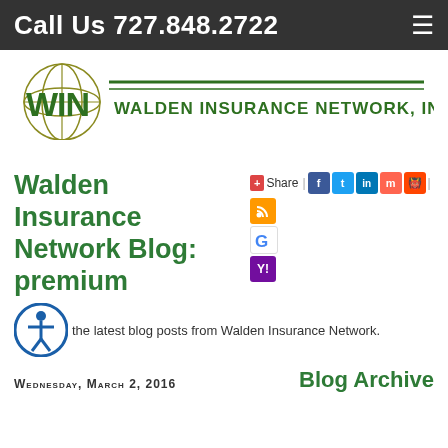Call Us 727.848.2722
[Figure (logo): WIN Walden Insurance Network, Inc. logo with globe graphic and green text]
Walden Insurance Network Blog: premium
[Figure (infographic): Social share bar with +Share button, Facebook, Twitter, LinkedIn, Mix, Reddit icons, and RSS, Google, Yahoo icons below]
the latest blog posts from Walden Insurance Network.
Blog Archive
Wednesday, March 2, 2016